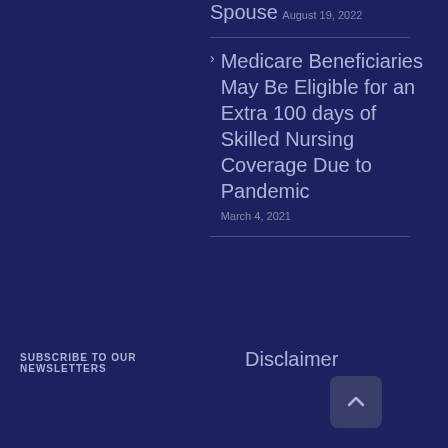Spouse
August 19, 2022
Medicare Beneficiaries May Be Eligible for an Extra 100 days of Skilled Nursing Coverage Due to Pandemic
March 4, 2021
SUBSCRIBE TO OUR NEWSLETTERS
Disclaimer